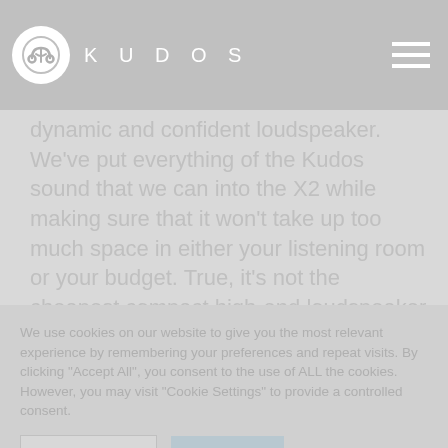KUDOS
dynamic and confident loudspeaker. We've put everything of the Kudos sound that we can into the X2 while making sure that it won't take up too much space in either your listening room or your budget. True, it's not the cheapest compact high-end loudspeaker on the market. But it is hand-built in the UK using some of Europe's finest components
We use cookies on our website to give you the most relevant experience by remembering your preferences and repeat visits. By clicking "Accept All", you consent to the use of ALL the cookies. However, you may visit "Cookie Settings" to provide a controlled consent.
Cookie Settings    Accept All